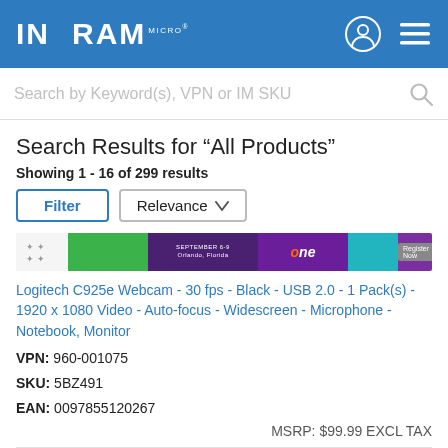INGRAM MICRO
Search by Keyword(s), VPN or IM SKU
Search Results for “All Products”
Showing 1 - 16 of 299 results
[Figure (screenshot): Ingram Micro promotional banner advertisement with green and purple design, September 6-9, Orlando Florida, Register Now button]
Logitech C925e Webcam - 30 fps - Black - USB 2.0 - 1 Pack(s) - 1920 x 1080 Video - Auto-focus - Widescreen - Microphone - Notebook, Monitor
VPN: 960-001075
SKU: 5BZ491
EAN: 0097855120267
MSRP: $99.99 EXCL TAX
Plantronics Poly Studio Webcam - 30 fps - USB 2.0 Type A - 1920